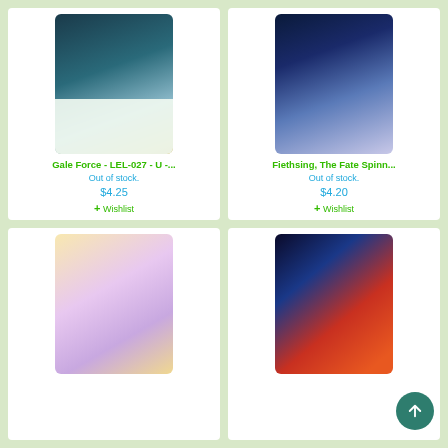[Figure (illustration): Trading card art for Gale Force - magical lightning/wind scene with text box]
Gale Force - LEL-027 - U -...
Out of stock.
$4.25
+ Wishlist
[Figure (illustration): Trading card art for Fiethsing, The Fate Spinner - anime character with purple hair]
Fiethsing, The Fate Spinn...
Out of stock.
$4.20
+ Wishlist
[Figure (illustration): Trading card art - Lunar Enchantress anime character with colorful flowing garments]
[Figure (illustration): Trading card art - Magic Stone of Alchemy/Science blue and red energy clash]